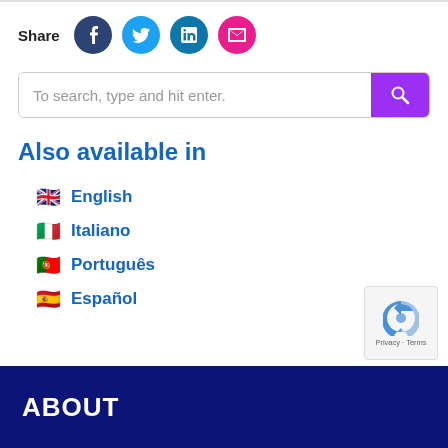Share
[Figure (infographic): Social share buttons: Facebook (dark blue circle with f), Twitter (light blue circle with bird), LinkedIn (teal circle with in), Email (pink circle with envelope)]
To search, type and hit enter.
Also available in
🇬🇧 English
🇮🇹 Italiano
🇵🇹 Português
🇪🇸 Español
ABOUT